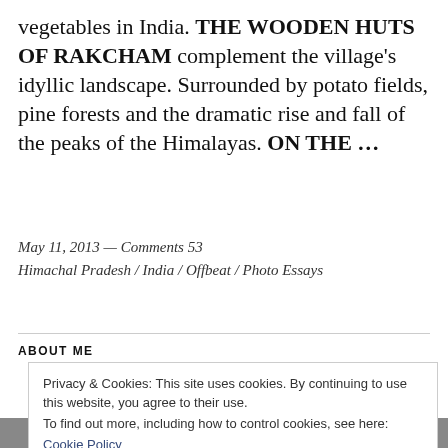vegetables in India. THE WOODEN HUTS OF RAKCHAM complement the village's idyllic landscape. Surrounded by potato fields, pine forests and the dramatic rise and fall of the peaks of the Himalayas. ON THE ...
May 11, 2013 — Comments 53
Himachal Pradesh / India / Offbeat / Photo Essays
ABOUT ME
Privacy & Cookies: This site uses cookies. By continuing to use this website, you agree to their use.
To find out more, including how to control cookies, see here:
Cookie Policy
Accept and close
[Figure (photo): Partial photo strip at bottom of page showing a person, black and white]